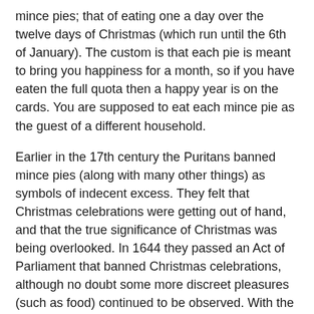mince pies; that of eating one a day over the twelve days of Christmas (which run until the 6th of January). The custom is that each pie is meant to bring you happiness for a month, so if you have eaten the full quota then a happy year is on the cards. You are supposed to eat each mince pie as the guest of a different household.
Earlier in the 17th century the Puritans banned mince pies (along with many other things) as symbols of indecent excess. They felt that Christmas celebrations were getting out of hand, and that the true significance of Christmas was being overlooked. In 1644 they passed an Act of Parliament that banned Christmas celebrations, although no doubt some more discreet pleasures (such as food) continued to be observed. With the Restoration in 1660 came a return to pre-Puritan festivities, so Samuel Pepys was partaking in the renewed enjoyment of dishes such as mince pies. For the Scottish the ban on Christmas celebrations came even earlier, with the ousting of the Catholic Church in 1583, and was continued by the Presbyterians right through into the 20th century. See this site for more information.